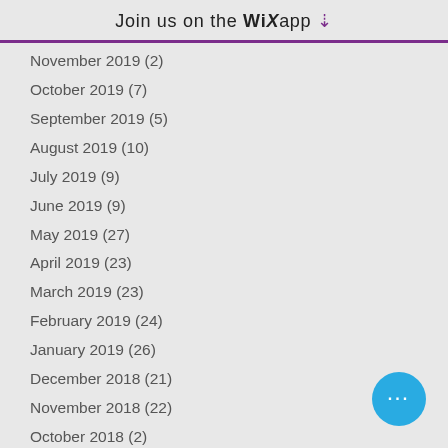Join us on the WiX app ↓
November 2019 (2)
October 2019 (7)
September 2019 (5)
August 2019 (10)
July 2019 (9)
June 2019 (9)
May 2019 (27)
April 2019 (23)
March 2019 (23)
February 2019 (24)
January 2019 (26)
December 2018 (21)
November 2018 (22)
October 2018 (2)
July 2018 (3)
April 2018 (1)
March 2018 (3)
December 2017 (2)
October 2017 (1)
August 2017 (1)
May 2017 (1)